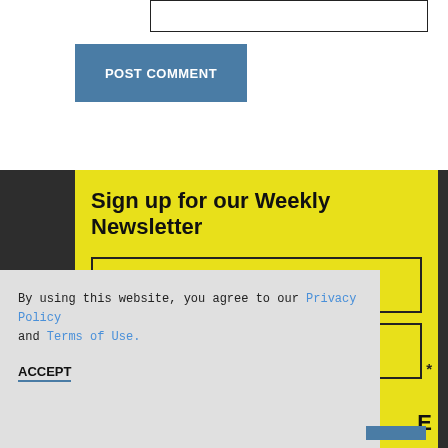[Figure (screenshot): Top portion of a web form with a text input box at the top]
POST COMMENT
Sign up for our Weekly Newsletter
First Name
Last Name
By using this website, you agree to our Privacy Policy and Terms of Use.
ACCEPT